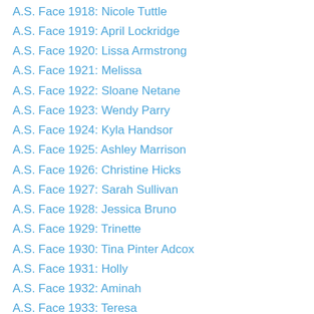A.S. Face 1918: Nicole Tuttle
A.S. Face 1919: April Lockridge
A.S. Face 1920: Lissa Armstrong
A.S. Face 1921: Melissa
A.S. Face 1922: Sloane Netane
A.S. Face 1923: Wendy Parry
A.S. Face 1924: Kyla Handsor
A.S. Face 1925: Ashley Marrison
A.S. Face 1926: Christine Hicks
A.S. Face 1927: Sarah Sullivan
A.S. Face 1928: Jessica Bruno
A.S. Face 1929: Trinette
A.S. Face 1930: Tina Pinter Adcox
A.S. Face 1931: Holly
A.S. Face 1932: Aminah
A.S. Face 1933: Teresa
A.S. Face 1934: Kelli Robertson
A.S. Face 1935: Julia New
A.S. Face 1936: Mel S.
A.S. Face 1937: Cecelia